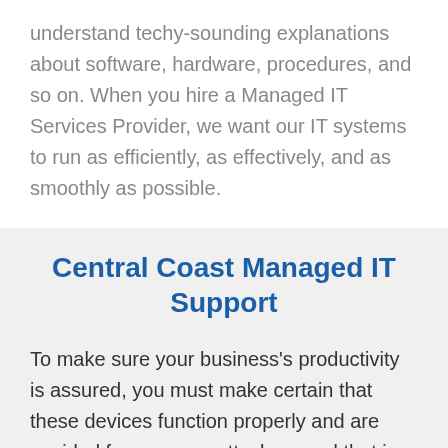understand techy-sounding explanations about software, hardware, procedures, and so on. When you hire a Managed IT Services Provider, we want our IT systems to run as efficiently, as effectively, and as smoothly as possible.
Central Coast Managed IT Support
To make sure your business's productivity is assured, you must make certain that these devices function properly and are avoided from attacks -- and that is exactly why we are here these devices, including workstations, laptops, tablets, and mobile phones, as we can